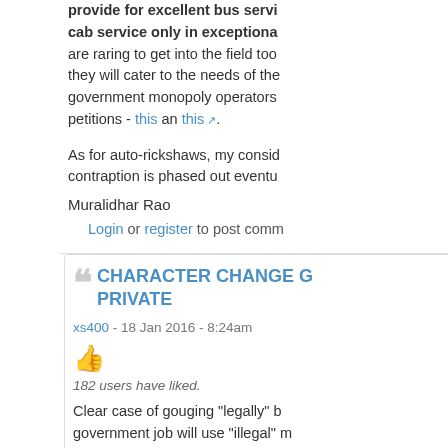provide for excellent bus service... cab service only in exceptional... are raring to get into the field too... they will cater to the needs of the... government monopoly operators... petitions - this an this.
As for auto-rickshaws, my consid... contraption is phased out eventu...
Muralidhar Rao
Login or register to post comm...
CHARACTER CHANGE G... PRIVATE
xs400 - 18 Jan 2016 - 8:24am
182 users have liked.
Clear case of gouging "legally" b... government job will use "illegal" ... moves into the private arena anc... to increase profit, which is deem... or public enterprise is not the iss...